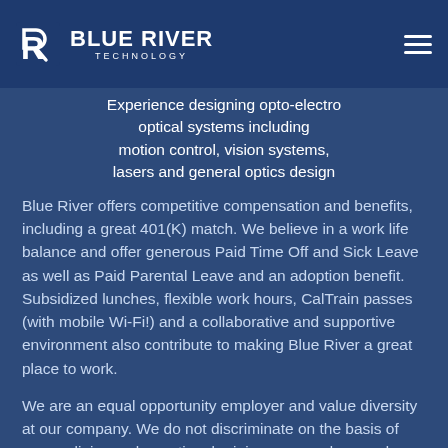Blue River Technology
Experience designing opto-electro-optical systems including motion control, vision systems, lasers and general optics design
Blue River offers competitive compensation and benefits, including a great 401(K) match. We believe in a work life balance and offer generous Paid Time Off and Sick Leave as well as Paid Parental Leave and an adoption benefit. Subsidized lunches, flexible work hours, CalTrain passes (with mobile Wi-Fi!) and a collaborative and supportive environment also contribute to making Blue River a great place to work.
We are an equal opportunity employer and value diversity at our company. We do not discriminate on the basis of race, religion, color, national origin, sex, gender, gender expression, sexual orientation, age, marital status, veteran